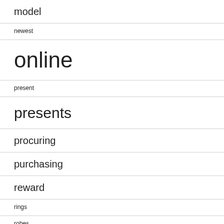model
newest
online
present
presents
procuring
purchasing
reward
rings
robes
shopping
shops
sites
store